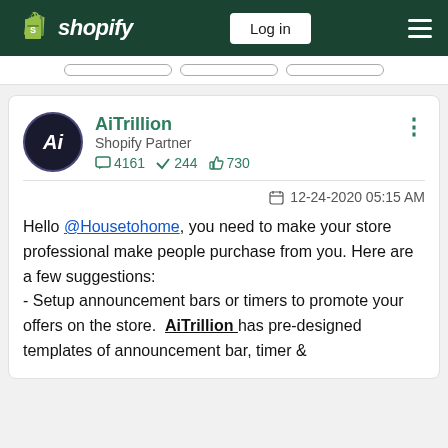shopify — Log in — menu
[Figure (screenshot): Partial navigation buttons bar showing three partially visible rounded button outlines]
AiTrillion
Shopify Partner
4161  244  730
12-24-2020 05:15 AM
Hello @Housetohome, you need to make your store professional make people purchase from you. Here are a few suggestions:
- Setup announcement bars or timers to promote your offers on the store. AiTrillion has pre-designed templates of announcement bar, timer &